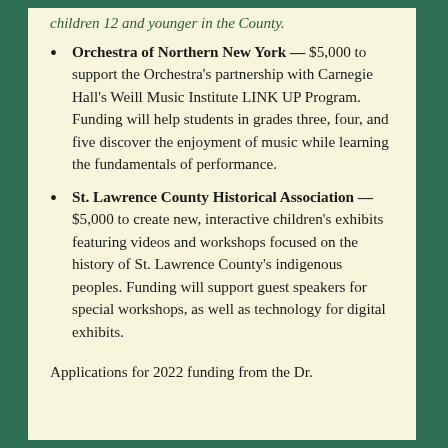children 12 and younger in the County.
Orchestra of Northern New York — $5,000 to support the Orchestra's partnership with Carnegie Hall's Weill Music Institute LINK UP Program. Funding will help students in grades three, four, and five discover the enjoyment of music while learning the fundamentals of performance.
St. Lawrence County Historical Association — $5,000 to create new, interactive children's exhibits featuring videos and workshops focused on the history of St. Lawrence County's indigenous peoples. Funding will support guest speakers for special workshops, as well as technology for digital exhibits.
Applications for 2022 funding from the Dr.